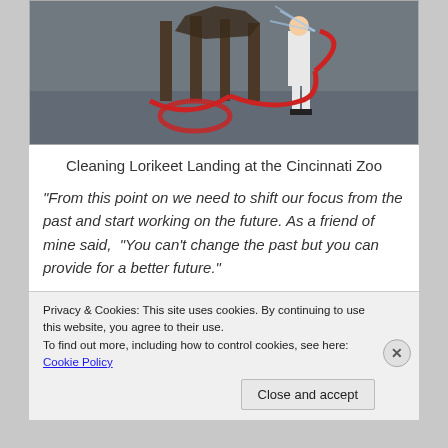[Figure (photo): Person in white uniform using a red hose to clean a structure at Lorikeet Landing at the Cincinnati Zoo. The ground is wet and the hose is coiled on the ground.]
Cleaning Lorikeet Landing at the Cincinnati Zoo
“From this point on we need to shift our focus from the past and start working on the future. As a friend of mine said, “You can’t change the past but you can provide for a better future.”
With the headlines and emotions of the latest
Privacy & Cookies: This site uses cookies. By continuing to use this website, you agree to their use.
To find out more, including how to control cookies, see here: Cookie Policy